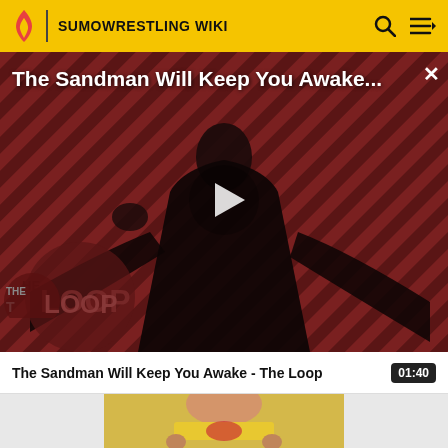SUMOWRESTLING WIKI
[Figure (screenshot): Video thumbnail showing The Sandman Will Keep You Awake - The Loop, with a dark-cloaked figure against a red diagonal striped background, play button overlay, and The Loop logo in lower left]
The Sandman Will Keep You Awake - The Loop  01:40
[Figure (photo): Partial thumbnail of a sumo wrestler wearing yellow mawashi, cropped at torso]